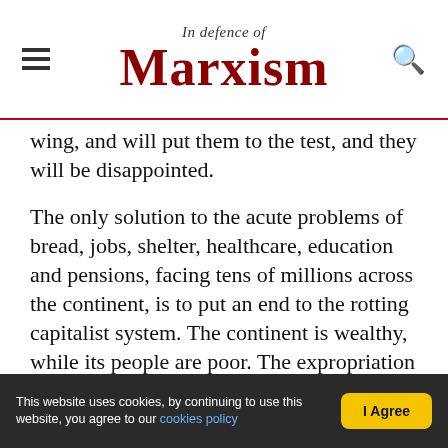In Defence of Marxism
wing, and will put them to the test, and they will be disappointed.
The only solution to the acute problems of bread, jobs, shelter, healthcare, education and pensions, facing tens of millions across the continent, is to put an end to the rotting capitalist system. The continent is wealthy, while its people are poor. The expropriation of the multinationals and their local capitalists, and the repudiation of foreign debt, would allow the wealth of Latin America to be used, as part of a rational plan of production, for the benefit of the many, not the few. The yoke of
This website uses cookies, by continuing to use this website, you agree to our cookies policy